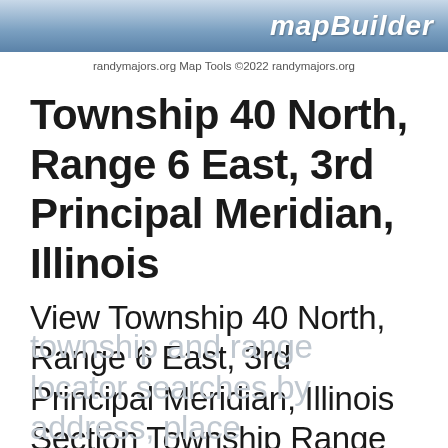mapBuilder
randymajors.org Map Tools ©2022 randymajors.org
Township 40 North, Range 6 East, 3rd Principal Meridian, Illinois
View Township 40 North, Range 6 East, 3rd Principal Meridian, Illinois Section Township Range map on Google Maps • Free
township and range locator searches by address, place